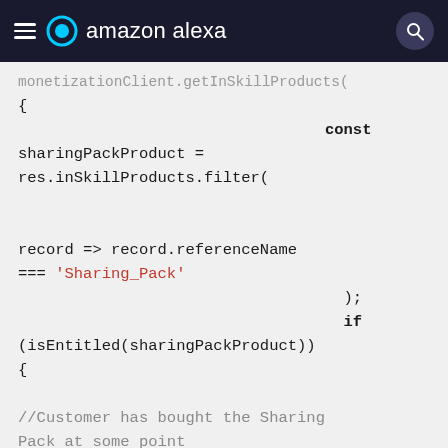amazon alexa
[Figure (screenshot): Amazon Alexa developer documentation page header with hamburger menu, Alexa logo, and search button on dark navy background]
monetizationclient.getInSkillProducts(
{
    const sharingPackProduct = res.inSkillProducts.filter(

    record => record.referenceName === 'Sharing_Pack'

                                    );
                                    if (isEntitled(sharingPackProduct))
{

//Customer has bought the Sharing Pack at some point

    return